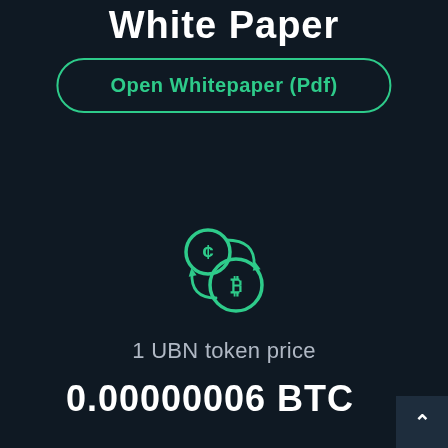White Paper
Open Whitepaper (Pdf)
[Figure (illustration): Two cryptocurrency coin icons (one with a cent symbol, one with a Bitcoin symbol) connected by circular arrows, indicating exchange or swap, rendered in teal/green color on dark background]
1 UBN token price
0.00000006 BTC